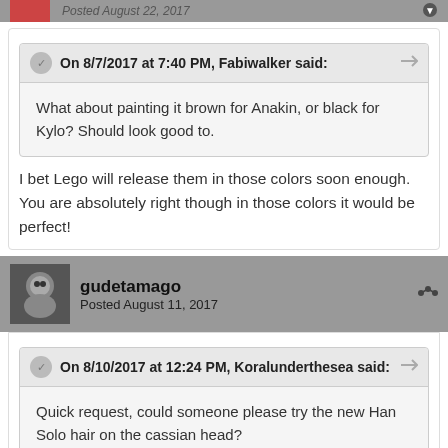Posted August 22, 2017
On 8/7/2017 at 7:40 PM, Fabiwalker said:
What about painting it brown for Anakin, or black for Kylo? Should look good to.
I bet Lego will release them in those colors soon enough. You are absolutely right though in those colors it would be perfect!
gudetamago
Posted August 11, 2017
On 8/10/2017 at 12:24 PM, Koralunderthesea said:
Quick request, could someone please try the new Han Solo hair on the cassian head?

Thanks